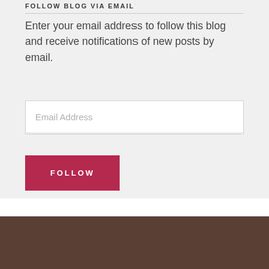FOLLOW BLOG VIA EMAIL
Enter your email address to follow this blog and receive notifications of new posts by email.
[Figure (screenshot): Email address input field with placeholder text 'Email Address']
[Figure (screenshot): Red/crimson FOLLOW button]
Follow Bird Flight